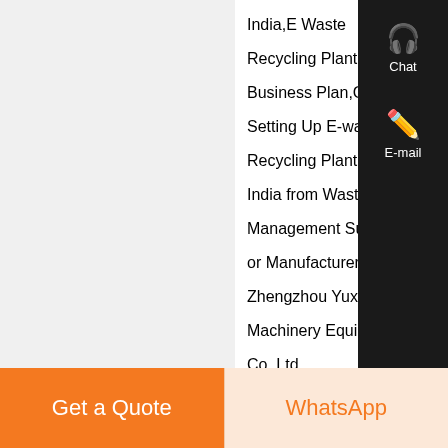India,E Waste Recycling Plant Business Plan,C Setting Up E-wa Recycling Plant India from Waste Management Su or Manufacturer- Zhengzhou Yuxi Machinery Equip Co, Ltd...
Know M
Get a Quote
WhatsApp